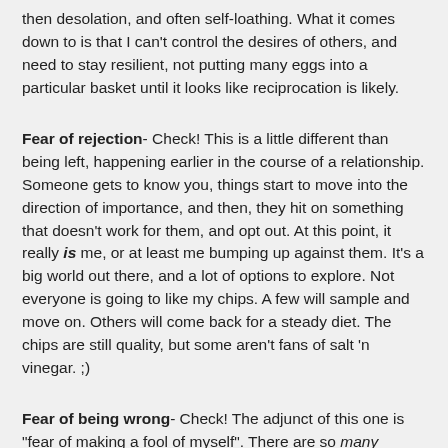then desolation, and often self-loathing. What it comes down to is that I can't control the desires of others, and need to stay resilient, not putting many eggs into a particular basket until it looks like reciprocation is likely.
Fear of rejection- Check! This is a little different than being left, happening earlier in the course of a relationship. Someone gets to know you, things start to move into the direction of importance, and then, they hit on something that doesn't work for them, and opt out. At this point, it really is me, or at least me bumping up against them. It's a big world out there, and a lot of options to explore. Not everyone is going to like my chips. A few will sample and move on. Others will come back for a steady diet. The chips are still quality, but some aren't fans of salt 'n vinegar. ;)
Fear of being wrong- Check! The adjunct of this one is "fear of making a fool of myself". There are so many opportunities for miscommunication, sometimes leading to poor decision-